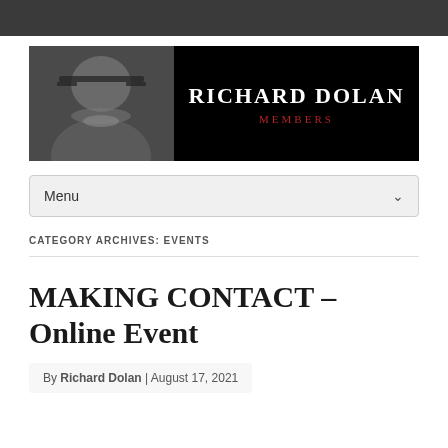[Figure (photo): Richard Dolan Members website banner: black background with a grayscale photo of a bearded man wearing glasses on the left, and 'RICHARD DOLAN MEMBERS' text in white and red on the right.]
Menu
CATEGORY ARCHIVES: EVENTS
MAKING CONTACT – Online Event
By Richard Dolan | August 17, 2021